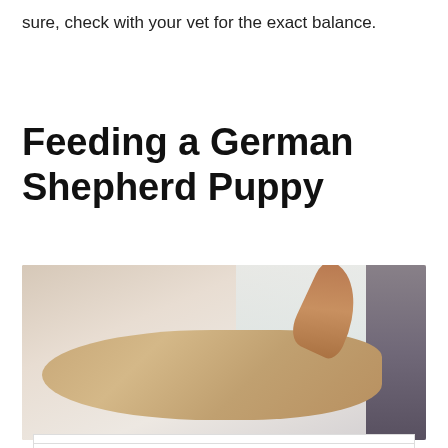sure, check with your vet for the exact balance.
Feeding a German Shepherd Puppy
[Figure (photo): A German Shepherd puppy lying down, photographed from above, with an ear visible in the foreground. The background shows a window and a dark object on the right side.]
[Figure (other): CVS Pharmacy advertisement: Spend $40, Get $10 ExtraBucks]